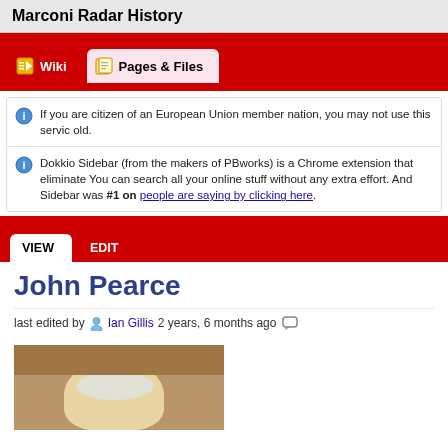Marconi Radar History
Wiki | Pages & Files (navigation tabs)
If you are citizen of an European Union member nation, you may not use this service old.
Dokkio Sidebar (from the makers of PBworks) is a Chrome extension that eliminates You can search all your online stuff without any extra effort. And Sidebar was #1 on people are saying by clicking here.
VIEW  EDIT
John Pearce
last edited by Ian Gillis 2 years, 6 months ago
[Figure (photo): Photo of a person with white/grey hair, partial view showing top of head]